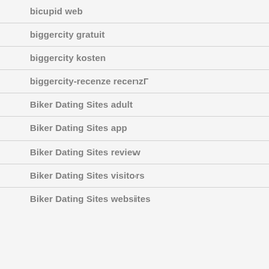bicupid web
biggercity gratuit
biggercity kosten
biggercity-recenze recenzГ
Biker Dating Sites adult
Biker Dating Sites app
Biker Dating Sites review
Biker Dating Sites visitors
Biker Dating Sites websites